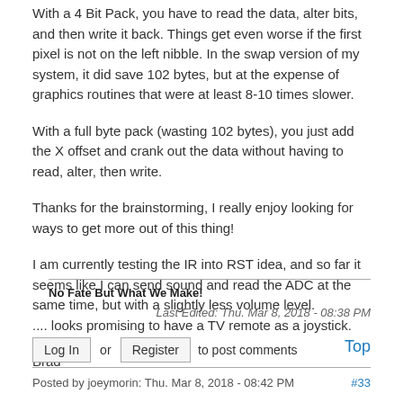With a 4 Bit Pack, you have to read the data, alter bits, and then write it back. Things get even worse if the first pixel is not on the left nibble. In the swap version of my system, it did save 102 bytes, but at the expense of graphics routines that were at least 8-10 times slower.
With a full byte pack (wasting 102 bytes), you just add the X offset and crank out the data without having to read, alter, then write.
Thanks for the brainstorming, I really enjoy looking for ways to get more out of this thing!
I am currently testing the IR into RST idea, and so far it seems like I can send sound and read the ADC at the same time, but with a slightly less volume level.
.... looks promising to have a TV remote as a joystick.
Brad
No Fate But What We Make!
Last Edited: Thu. Mar 8, 2018 - 08:38 PM
Log In or Register to post comments
Top
Posted by joeymorin: Thu. Mar 8, 2018 - 08:42 PM   #33